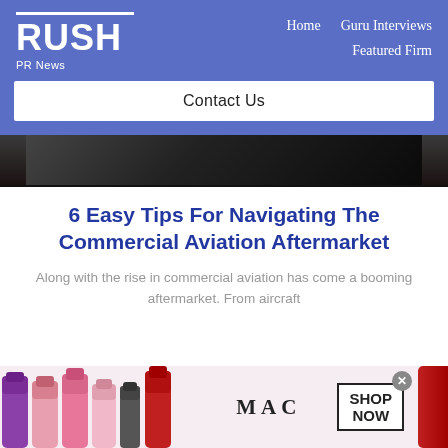RUSH PR News — Home | Guru Interviews | Featured Firm
Contact Us
[Figure (photo): Dark photograph of an aircraft on a runway at night]
6 Easy Tips For Navigating The Commercial Aviation Aftermarket
Along with the rise in commercial aviation has come a booming aftermarket. From aircraft
[Figure (photo): MAC cosmetics advertisement banner showing lipsticks and SHOP NOW button]